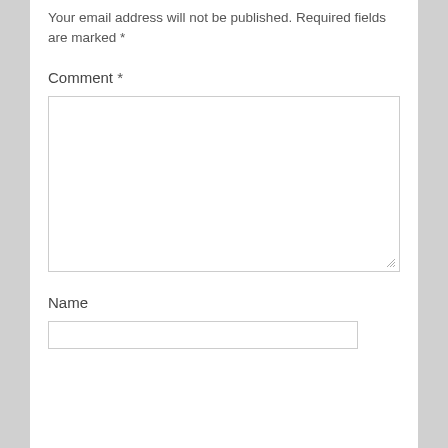Your email address will not be published. Required fields are marked *
Comment *
[Figure (other): Large empty comment textarea input box with resize handle in bottom-right corner]
Name
[Figure (other): Empty name text input box]